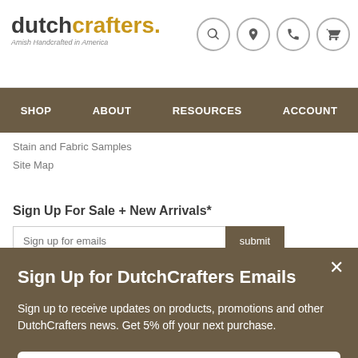dutchcrafters. Amish Handcrafted in America
SHOP   ABOUT   RESOURCES   ACCOUNT
Stain and Fabric Samples
Site Map
Sign Up For Sale + New Arrivals*
Sign Up for DutchCrafters Emails
Sign up to receive updates on products, promotions and other DutchCrafters news. Get 5% off your next purchase.
Subscribe Now